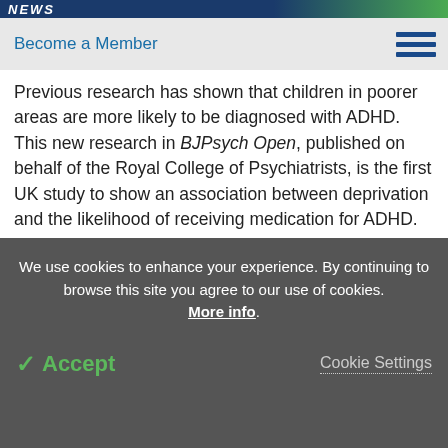NEWS
Become a Member
Previous research has shown that children in poorer areas are more likely to be diagnosed with ADHD. This new research in BJPsych Open, published on behalf of the Royal College of Psychiatrists, is the first UK study to show an association between deprivation and the likelihood of receiving medication for ADHD.
Related Stories
We use cookies to enhance your experience. By continuing to browse this site you agree to our use of cookies. More info.
✓ Accept
Cookie Settings